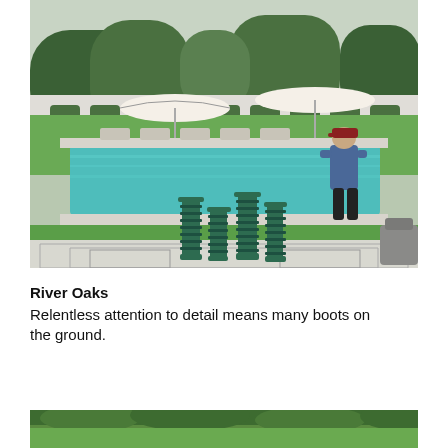[Figure (photo): Outdoor pool area with lounge chairs, large white umbrellas, neatly trimmed hedges and trees in background. In foreground, a white patterned table with four tall green spiral candlesticks. A man in a red cap and denim jacket walks along the pool edge.]
River Oaks
Relentless attention to detail means many boots on the ground.
[Figure (photo): Partial view of a landscape scene with trees and greenery, bottom of page.]